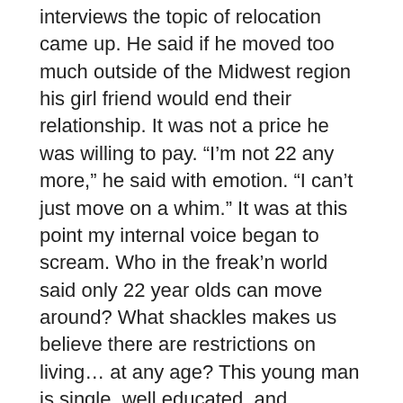interviews the topic of relocation came up. He said if he moved too much outside of the Midwest region his girl friend would end their relationship. It was not a price he was willing to pay. “I’m not 22 any more,” he said with emotion. “I can’t just move on a whim.” It was at this point my internal voice began to scream. Who in the freak’n world said only 22 year olds can move around? What shackles makes us believe there are restrictions on living… at any age? This young man is single, well educated, and ambitious. What blows me away is that he already feels it is too late. Is it cultural? Is it fear? I suppose we all draw imaginary prisons to keep us safe when something new tempts us into the unknown. From my viewpoint, he is missing some great adventures that will make him smile when he is at my age. It is never too late to stretch beyond our comfort